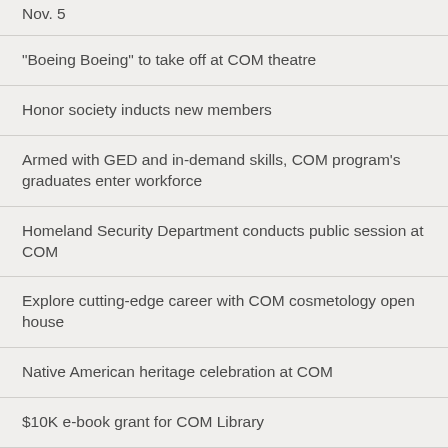Nov. 5
"Boeing Boeing" to take off at COM theatre
Honor society inducts new members
Armed with GED and in-demand skills, COM program's graduates enter workforce
Homeland Security Department conducts public session at COM
Explore cutting-edge career with COM cosmetology open house
Native American heritage celebration at COM
$10K e-book grant for COM Library